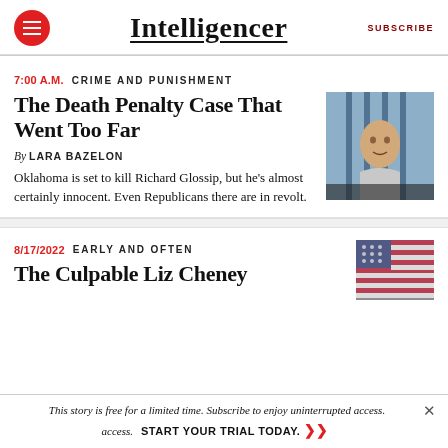Intelligencer | SUBSCRIBE
7:00 A.M.  CRIME AND PUNISHMENT
The Death Penalty Case That Went Too Far
By LARA BAZELON
Oklahoma is set to kill Richard Glossip, but he's almost certainly innocent. Even Republicans there are in revolt.
[Figure (photo): Photo of a man (Richard Glossip) behind prison bars]
8/17/2022  EARLY AND OFTEN
The Culpable Liz Cheney
[Figure (photo): Thumbnail photo with American flag motif]
This story is free for a limited time. Subscribe to enjoy uninterrupted access.  START YOUR TRIAL TODAY. ➤➤